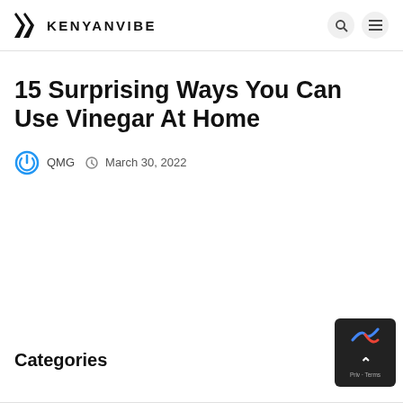KENYANVIBE
15 Surprising Ways You Can Use Vinegar At Home
QMG  March 30, 2022
Categories